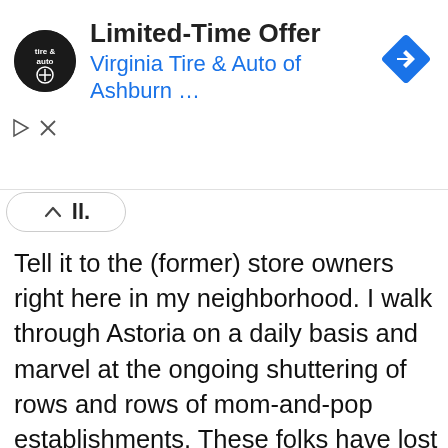[Figure (screenshot): Advertisement banner for Virginia Tire & Auto of Ashburn with logo, title 'Limited-Time Offer', blue subtitle 'Virginia Tire & Auto of Ashburn ...', and a blue diamond navigation arrow icon on the right.]
ll.
Tell it to the (former) store owners right here in my neighborhood. I walk through Astoria on a daily basis and marvel at the ongoing shuttering of rows and rows of mom-and-pop establishments. These folks have lost everything — not because of a virus but as a result of the lockdowns. Those destructive and lethal lockdowns were and remain widely accepted based on the numbers we were given. A precise accounting of cases and deaths matters immensely — especially since COVID-19 appears to have at least a 99 percent recovery rate